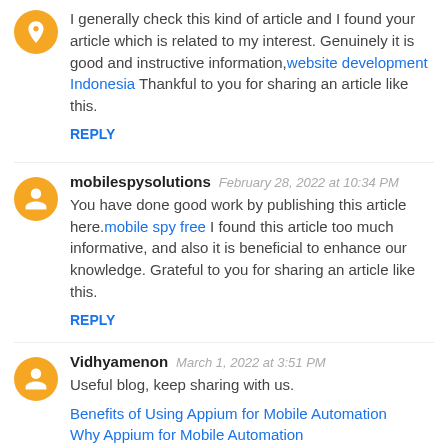I generally check this kind of article and I found your article which is related to my interest. Genuinely it is good and instructive information,website development Indonesia Thankful to you for sharing an article like this.
REPLY
mobilespysolutions  February 28, 2022 at 10:34 PM
You have done good work by publishing this article here.mobile spy free I found this article too much informative, and also it is beneficial to enhance our knowledge. Grateful to you for sharing an article like this.
REPLY
Vidhyamenon  March 1, 2022 at 3:51 PM
Useful blog, keep sharing with us.
Benefits of Using Appium for Mobile Automation
Why Appium for Mobile Automation